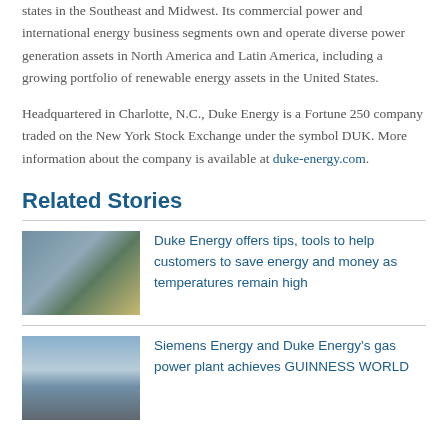states in the Southeast and Midwest. Its commercial power and international energy business segments own and operate diverse power generation assets in North America and Latin America, including a growing portfolio of renewable energy assets in the United States.
Headquartered in Charlotte, N.C., Duke Energy is a Fortune 250 company traded on the New York Stock Exchange under the symbol DUK. More information about the company is available at duke-energy.com.
Related Stories
[Figure (photo): Worker in blue jacket and white hard hat working on equipment]
Duke Energy offers tips, tools to help customers to save energy and money as temperatures remain high
[Figure (photo): Industrial building or power plant structure against a cloudy sky]
Siemens Energy and Duke Energy's gas power plant achieves GUINNESS WORLD